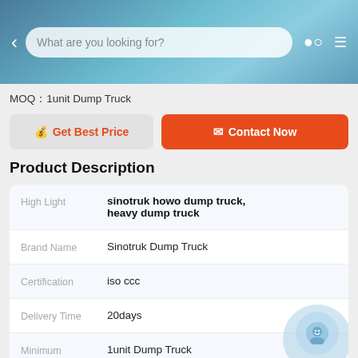What are you looking for?
MOQ：1unit Dump Truck
Get Best Price | Contact Now
Product Description
| Field | Value |
| --- | --- |
| High Light | sinotruk howo dump truck, heavy dump truck |
| Brand Name | Sinotruk Dump Truck |
| Certification | iso ccc |
| Delivery Time | 20days |
| Minimum Order Quantity | 1unit Dump Truck |